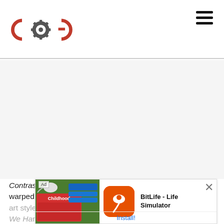COG logo and navigation header
[Figure (other): Advertisement banner area (blank/ad placeholder)]
Contrast had a distinctive German expressionism art style of warped buildings and odd angles to bolster the dreamlike We Have Guillau
[Figure (screenshot): Ad overlay: BitLife - Life Simulator app install banner with game screenshots and Install! call to action]